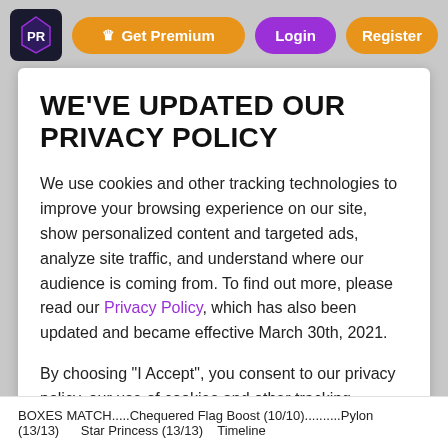Get Premium | Login | Register
WE'VE UPDATED OUR PRIVACY POLICY
We use cookies and other tracking technologies to improve your browsing experience on our site, show personalized content and targeted ads, analyze site traffic, and understand where our audience is coming from. To find out more, please read our Privacy Policy, which has also been updated and became effective March 30th, 2021.
By choosing "I Accept", you consent to our privacy policy, our use of cookies and other tracking technologies.
I Accept
BOXES MATCH.....Chequered Flag Boost (10/10)..........Pylon (13/13)      Star Princess (13/13)    Timeline